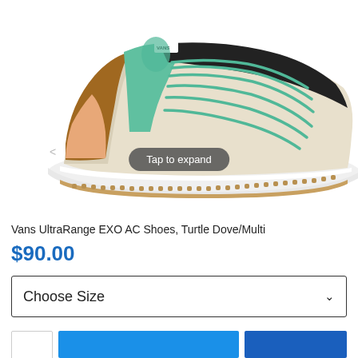[Figure (photo): Vans UltraRange EXO AC shoe in Turtle Dove/Multi colorway. Cream/beige suede upper with teal/mint green elastic lace straps, brown and black accents near heel, white midsole with gum rubber outsole. Side profile view facing left.]
Tap to expand
Vans UltraRange EXO AC Shoes, Turtle Dove/Multi
$90.00
Choose Size